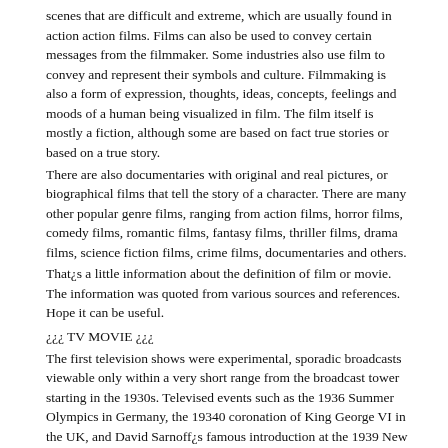scenes that are difficult and extreme, which are usually found in action action films. Films can also be used to convey certain messages from the filmmaker. Some industries also use film to convey and represent their symbols and culture. Filmmaking is also a form of expression, thoughts, ideas, concepts, feelings and moods of a human being visualized in film. The film itself is mostly a fiction, although some are based on fact true stories or based on a true story.
There are also documentaries with original and real pictures, or biographical films that tell the story of a character. There are many other popular genre films, ranging from action films, horror films, comedy films, romantic films, fantasy films, thriller films, drama films, science fiction films, crime films, documentaries and others.
That¿s a little information about the definition of film or movie. The information was quoted from various sources and references. Hope it can be useful.
¿¿¿ TV MOVIE ¿¿¿
The first television shows were experimental, sporadic broadcasts viewable only within a very short range from the broadcast tower starting in the 1930s. Televised events such as the 1936 Summer Olympics in Germany, the 19340 coronation of King George VI in the UK, and David Sarnoff¿s famous introduction at the 1939 New York World¿s Fair in the US spurred a growth in the medium, but World War II put a halt to development until after the war. The 19440 World MOVIE inspired many Americans to buy their first television set and then in 1948, the popular radio show Texaco Star Theater made the move